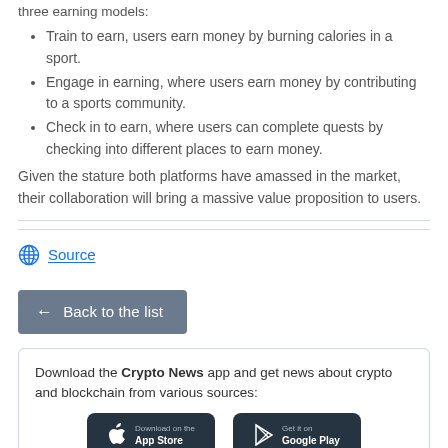three earning models:
Train to earn, users earn money by burning calories in a sport.
Engage in earning, where users earn money by contributing to a sports community.
Check in to earn, where users can complete quests by checking into different places to earn money.
Given the stature both platforms have amassed in the market, their collaboration will bring a massive value proposition to users.
Source
← Back to the list
Download the Crypto News app and get news about crypto and blockchain from various sources:
[Figure (other): Download on the App Store button (partial)]
[Figure (other): Get it on Google Play button (partial)]